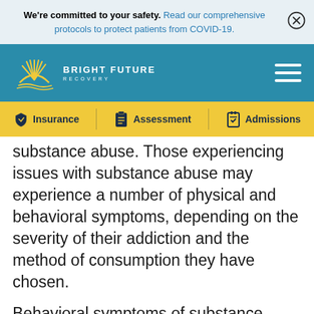We're committed to your safety. Read our comprehensive protocols to protect patients from COVID-19.
[Figure (logo): Bright Future Recovery logo with sun graphic on teal navigation bar with hamburger menu icon]
[Figure (infographic): Yellow navigation bar with Insurance, Assessment, and Admissions icons and labels]
substance abuse. Those experiencing issues with substance abuse may experience a number of physical and behavioral symptoms, depending on the severity of their addiction and the method of consumption they have chosen.
Behavioral symptoms of substance abuse may include: